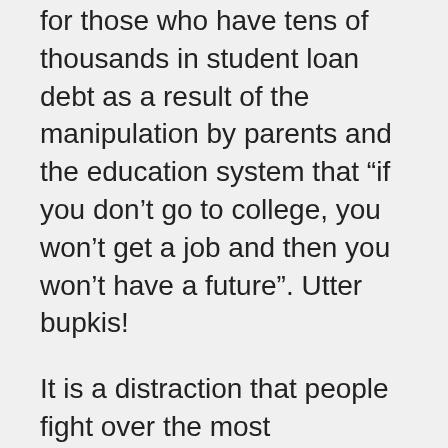for those who have tens of thousands in student loan debt as a result of the manipulation by parents and the education system that “if you don’t go to college, you won’t get a job and then you won’t have a future”. Utter bupkis!
It is a distraction that people fight over the most prestigious schools and career paths when none of those will give you the ability to lead a real rich life.
Not that I have student loan debt (I graduated from college 4 years ago) but going to college was the most disastrous mistake I ever made and cost me more